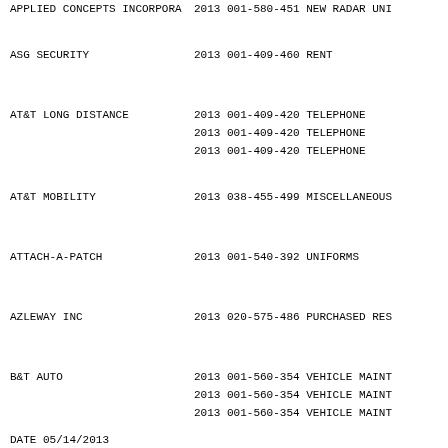| VENDOR | YEAR | ACCOUNT | DESCRIPTION |
| --- | --- | --- | --- |
| APPLIED CONCEPTS INCORPORA | 2013 | 001-580-451 | NEW RADAR UNI... |
| ASG SECURITY | 2013 | 001-409-460 | RENT |
| AT&T LONG DISTANCE | 2013 | 001-409-420 | TELEPHONE |
| AT&T LONG DISTANCE | 2013 | 001-409-420 | TELEPHONE |
| AT&T LONG DISTANCE | 2013 | 001-409-420 | TELEPHONE |
| AT&T MOBILITY | 2013 | 038-455-499 | MISCELLANEOUS... |
| ATTACH-A-PATCH | 2013 | 001-540-392 | UNIFORMS |
| AZLEWAY INC | 2013 | 020-575-486 | PURCHASED RES... |
| B&T AUTO | 2013 | 001-560-354 | VEHICLE MAINT... |
| B&T AUTO | 2013 | 001-560-354 | VEHICLE MAINT... |
| B&T AUTO | 2013 | 001-560-354 | VEHICLE MAINT... |
DATE 05/14/2013